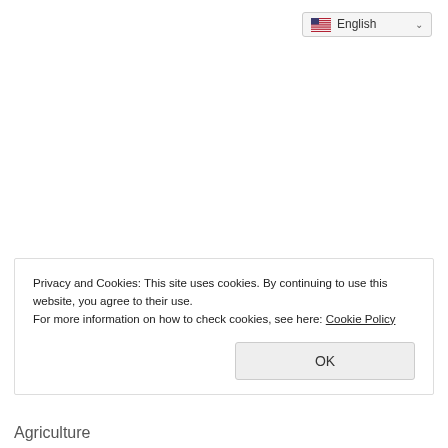[Figure (other): Language selector dropdown showing English with US flag and chevron]
RECENT NEWS
Privacy and Cookies: This site uses cookies. By continuing to use this website, you agree to their use.
For more information on how to check cookies, see here: Cookie Policy
OK
Agriculture